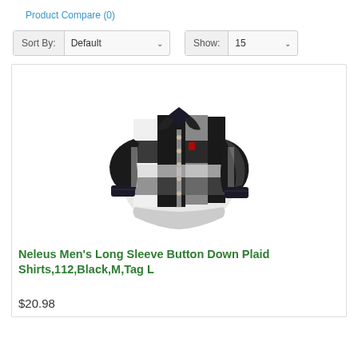Product Compare (0)
Sort By: Default   Show: 15
[Figure (photo): A men's long sleeve button down plaid shirt in black and white/grey large plaid pattern with dark navy collar and cuffs, displayed without a mannequin.]
Neleus Men's Long Sleeve Button Down Plaid Shirts,112,Black,M,Tag L
$20.98